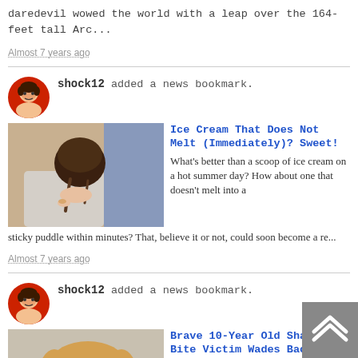daredevil wowed the world with a leap over the 164-feet tall Arc...
Almost 7 years ago
shock12 added a news bookmark.
Ice Cream That Does Not Melt (Immediately)? Sweet!
What's better than a scoop of ice cream on a hot summer day? How about one that doesn't melt into a sticky puddle within minutes? That, believe it or not, could soon become a re...
Almost 7 years ago
shock12 added a news bookmark.
Brave 10-Year Old Shark Bite Victim Wades Back Into The Ocean To Save Her Friend
On Wednesday, August 19th, ten-year-old Florida resident Kaley Szarmack was wading in knee-deep ocean waters at a Jacksonville beach, when she experienced a sharp pain in her r...
Almost 7 years ago